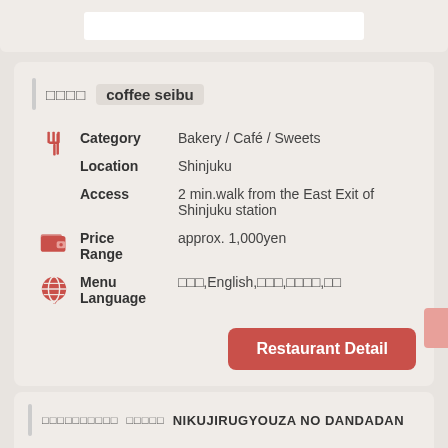[top card placeholder]
□□□□  coffee seibu
Category  Bakery / Café / Sweets
Location  Shinjuku
Access  2 min.walk from the East Exit of Shinjuku station
Price Range  approx. 1,000yen
Menu Language  □□□,English,□□□,□□□□,□□
Restaurant Detail
□□□□□□□□□□  □□□□□  NIKUJIRUGYOUZA NO DANDADAN